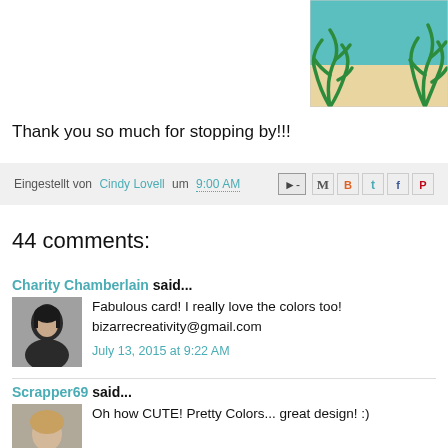[Figure (illustration): Partial illustration of a beach/ocean scene with green seaweed/coral plants on sandy ground and teal/turquoise water background, cropped at top-right corner of page.]
Thank you so much for stopping by!!!
Eingestellt von Cindy Lovell um 9:00 AM
44 comments:
Charity Chamberlain said...
Fabulous card! I really love the colors too! bizarrecreativity@gmail.com
July 13, 2015 at 9:22 AM
Scrapper69 said...
Oh how CUTE! Pretty Colors... great design! :)